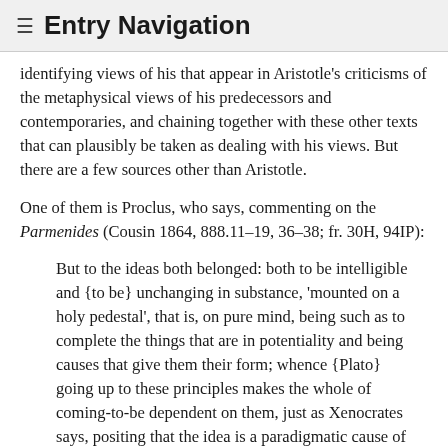≡ Entry Navigation
identifying views of his that appear in Aristotle's criticisms of the metaphysical views of his predecessors and contemporaries, and chaining together with these other texts that can plausibly be taken as dealing with his views. But there are a few sources other than Aristotle.
One of them is Proclus, who says, commenting on the Parmenides (Cousin 1864, 888.11–19, 36–38; fr. 30H, 94IP):
But to the ideas both belonged: both to be intelligible and {to be} unchanging in substance, 'mounted on a holy pedestal', that is, on pure mind, being such as to complete the things that are in potentiality and being causes that give them their form; whence {Plato} going up to these principles makes the whole of coming-to-be dependent on them, just as Xenocrates says, positing that the idea is a paradigmatic cause of the {things} that are always constituted according to nature … . Xenocrates, then, wrote down this definition of the idea as in conformity with the